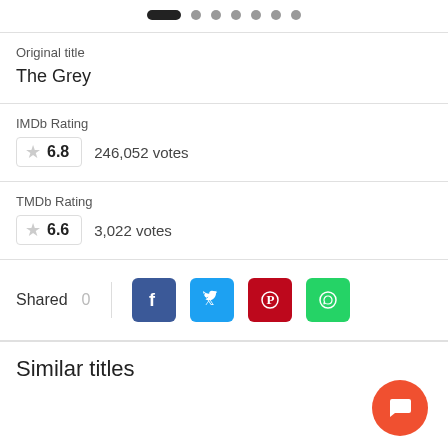[Figure (other): Carousel navigation dots: one active (dark pill) and six inactive (grey circles)]
Original title
The Grey
IMDb Rating
6.8   246,052 votes
TMDb Rating
6.6   3,022 votes
Shared 0
Similar titles